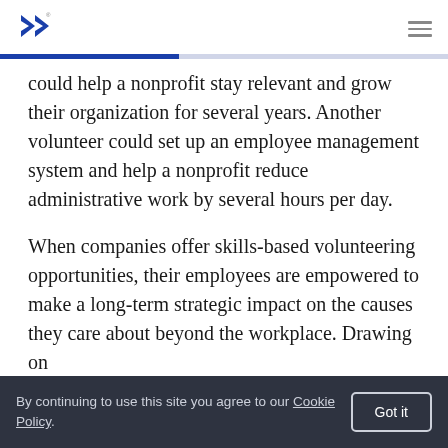[Toptal logo + navigation hamburger menu]
could help a nonprofit stay relevant and grow their organization for several years. Another volunteer could set up an employee management system and help a nonprofit reduce administrative work by several hours per day.
When companies offer skills-based volunteering opportunities, their employees are empowered to make a long-term strategic impact on the causes they care about beyond the workplace. Drawing on
By continuing to use this site you agree to our Cookie Policy.